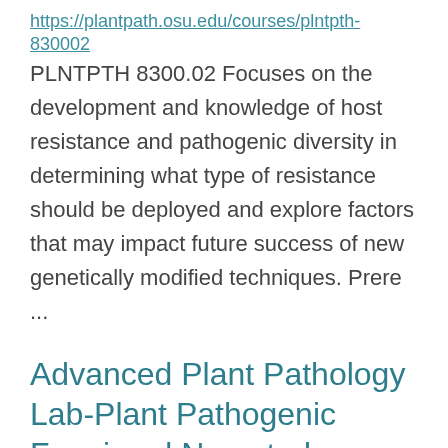https://plantpath.osu.edu/courses/plntpth-830002 PLNTPTH 8300.02 Focuses on the development and knowledge of host resistance and pathogenic diversity in determining what type of resistance should be deployed and explore factors that may impact future success of new genetically modified techniques. Prere ...
Advanced Plant Pathology Lab-Plant Pathogenic Fungi and Nematodes
https://plantpath.osu.edu/courses/plntpth-600202 PLNTPTH 6002.02 This graduate course